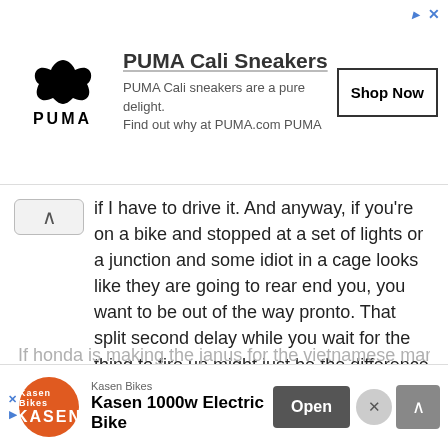[Figure (screenshot): PUMA Cali Sneakers advertisement banner with PUMA logo, cat silhouette, ad text, and Shop Now button]
if I have to drive it. And anyway, if you're on a bike and stopped at a set of lights or a junction and some idiot in a cage looks like they are going to rear end you, you want to be out of the way pronto. That split second delay while you wait for the thing to fire up might just be the difference between a narrow escape and spending six weeks in traction. Plus I want to be away from the lights asap when they change. So no, I hate the idea.
phil
Reply
If honda is making the janus for the vietnamese market
[Figure (screenshot): Kasen Bikes advertisement banner with Kasen logo, Kasen 1000w Electric Bike text, Open button, close button, and scroll up button]